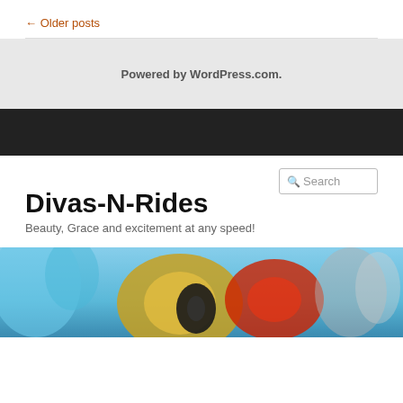← Older posts
Powered by WordPress.com.
Divas-N-Rides
Beauty, Grace and excitement at any speed!
[Figure (photo): Close-up photo of a vintage motorcycle taillight and chrome details with colorful bokeh background]